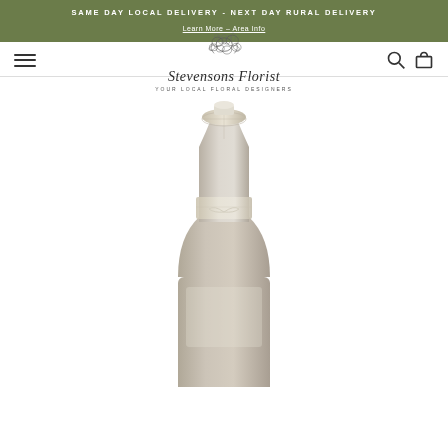SAME DAY LOCAL DELIVERY - NEXT DAY RURAL DELIVERY
Learn More – Area Info
[Figure (logo): Stevensons Florist logo with floral illustration and script text 'Stevensons Florist' and tagline 'YOUR LOCAL FLORAL DESIGNERS']
[Figure (photo): Champagne/sparkling wine bottle, showing neck and upper body, cream/gold foil capsule, on white background]